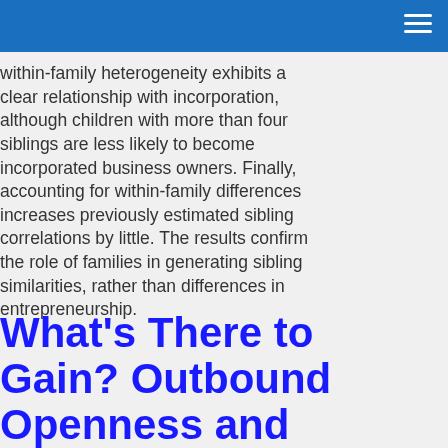within-family heterogeneity exhibits a clear relationship with incorporation, although children with more than four siblings are less likely to become incorporated business owners. Finally, accounting for within-family differences increases previously estimated sibling correlations by little. The results confirm the role of families in generating sibling similarities, rather than differences in entrepreneurship.
What's There to Gain? Outbound Openness and Markets for Technology